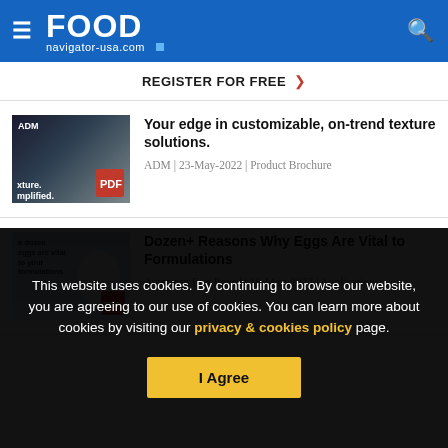FOOD navigator-usa.com
REGISTER FOR FREE ›
Your edge in customizable, on-trend texture solutions.
ADM | 23-May-2022 | Product Brochure
Dozen+ Reasons Why Eggs Are Vital to Formulations
American Egg Board | 16-May-2022 | Application
This website uses cookies. By continuing to browse our website, you are agreeing to our use of cookies. You can learn more about cookies by visiting our privacy & cookies policy page.
I Agree